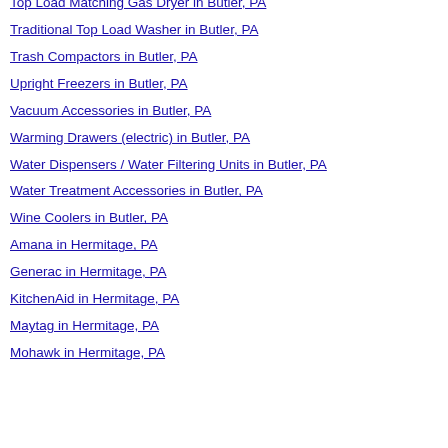Top Load Matching Gas Dryer in Butler, PA
Traditional Top Load Washer in Butler, PA
Trash Compactors in Butler, PA
Upright Freezers in Butler, PA
Vacuum Accessories in Butler, PA
Warming Drawers (electric) in Butler, PA
Water Dispensers / Water Filtering Units in Butler, PA
Water Treatment Accessories in Butler, PA
Wine Coolers in Butler, PA
Amana in Hermitage, PA
Generac in Hermitage, PA
KitchenAid in Hermitage, PA
Maytag in Hermitage, PA
Mohawk in Hermitage, PA